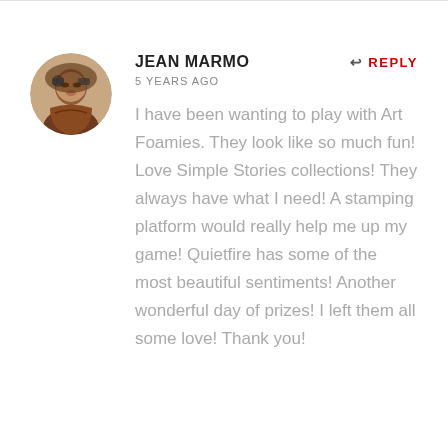[Figure (photo): Circular avatar photo of Jean Marmo, a woman with dark hair and glasses]
JEAN MARMO
5 YEARS AGO
↩ REPLY
I have been wanting to play with Art Foamies. They look like so much fun! Love Simple Stories collections! They always have what I need! A stamping platform would really help me up my game! Quietfire has some of the most beautiful sentiments! Another wonderful day of prizes! I left them all some love! Thank you!